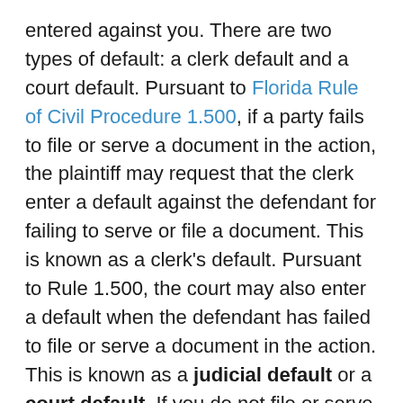entered against you. There are two types of default: a clerk default and a court default. Pursuant to Florida Rule of Civil Procedure 1.500, if a party fails to file or serve a document in the action, the plaintiff may request that the clerk enter a default against the defendant for failing to serve or file a document. This is known as a clerk's default. Pursuant to Rule 1.500, the court may also enter a default when the defendant has failed to file or serve a document in the action. This is known as a judicial default or a court default. If you do not file or serve a responsive pleading to the complaint, it is likely that the plaintiff will seek to have a default entered against you. Once a court's default is entered, the plaintiff will then likely move forward with having a judgment entered against